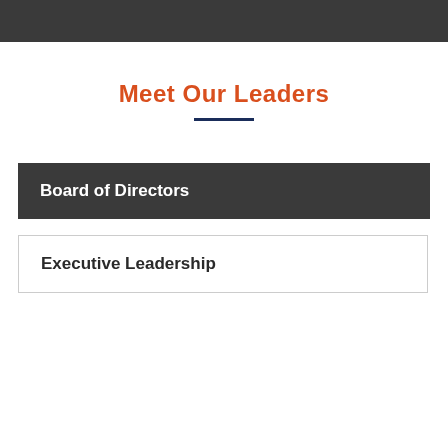Meet Our Leaders
Board of Directors
Executive Leadership